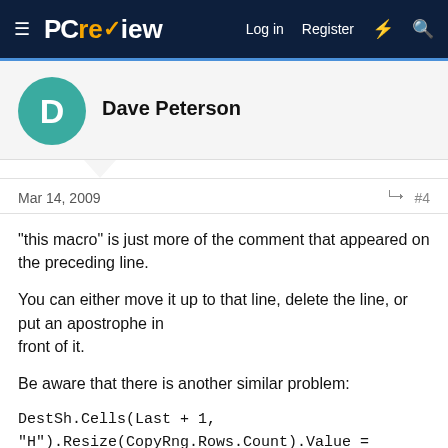PCreview — Log in  Register
Dave Peterson
Mar 14, 2009  #4
"this macro" is just more of the comment that appeared on the preceding line.

You can either move it up to that line, delete the line, or put an apostrophe in
front of it.

Be aware that there is another similar problem:

DestSh.Cells(Last + 1,
"H").Resize(CopyRng.Rows.Count).Value =
sh.Name